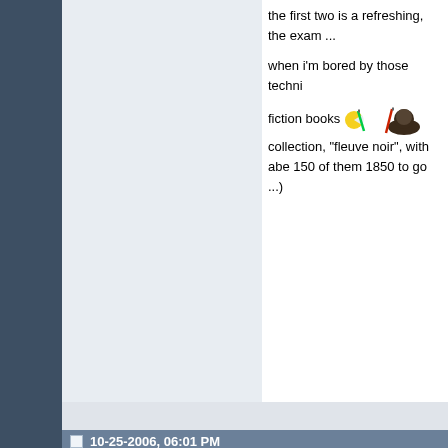the first two is a refreshing, the exam ...
when i'm bored by those techni...
fiction books [emoji] collection, "fleuve noir", with abe 150 of them 1850 to go ...)
10-25-2006, 06:01 PM
jasong
Old Timer
Join Date: Oct 2004
Location: Arkansas(US)
Posts: 1,778
I kind of like Heinlein, especially characters aren't perverts("Of c asked me, I LOVE him." Yuck). Stephen King is entertaining.
Recently, I started,"The Purpose help someone become a better read it the way the book advises over 40 days)
I LOVE science fiction books, e writing is AWESOME. The bad g have a genetic flaw, that the pa and vice-versa, making it a race torture, that's just a plot eleme